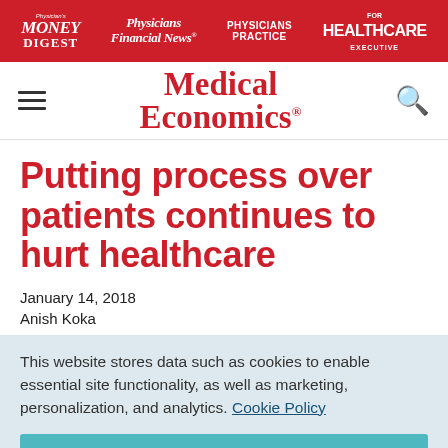Physician's Money Digest | Physicians Financial News | Physicians Practice | Healthcare Executive
[Figure (logo): Medical Economics logo with hamburger menu and search icon]
Putting process over patients continues to hurt healthcare
January 14, 2018
Anish Koka
This website stores data such as cookies to enable essential site functionality, as well as marketing, personalization, and analytics. Cookie Policy
Accept
Deny